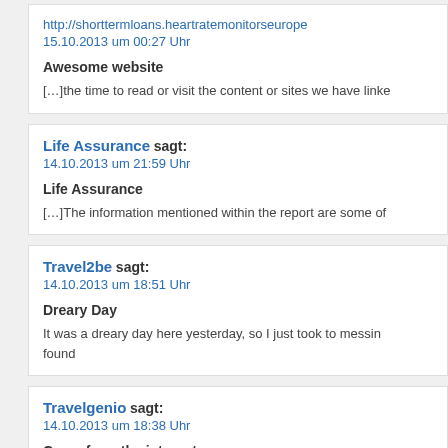http://shorttermloans.heartratemonitorseurope... 15.10.2013 um 00:27 Uhr
Awesome website
[...]the time to read or visit the content or sites we have linke...
Life Assurance sagt: 14.10.2013 um 21:59 Uhr
Life Assurance
[...]The information mentioned within the report are some of...
Travel2be sagt: 14.10.2013 um 18:51 Uhr
Dreary Day
It was a dreary day here yesterday, so I just took to messin... found
Travelgenio sagt: 14.10.2013 um 18:38 Uhr
Come form the internet...